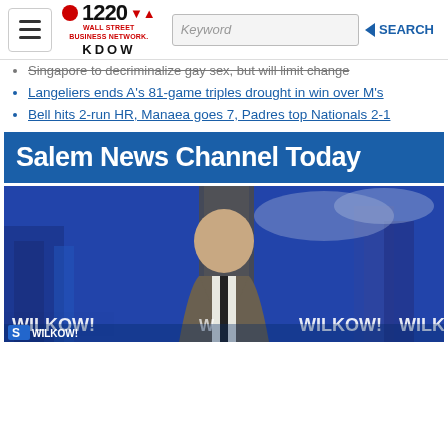1220 Wall Street Business Network KDOW — Keyword Search
Singapore to decriminalize gay sex, but will limit change
Langeliers ends A's 81-game triples drought in win over M's
Bell hits 2-run HR, Manaea goes 7, Padres top Nationals 2-1
Salem News Channel Today
[Figure (photo): TV anchor man in suit presenting on WILKOW! show with city skyline background]